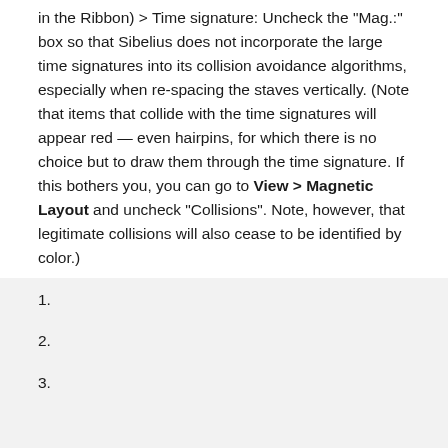in the Ribbon) > Time signature: Uncheck the "Mag.:" box so that Sibelius does not incorporate the large time signatures into its collision avoidance algorithms, especially when re-spacing the staves vertically. (Note that items that collide with the time signatures will appear red — even hairpins, for which there is no choice but to draw them through the time signature. If this bothers you, you can go to View > Magnetic Layout and uncheck "Collisions". Note, however, that legitimate collisions will also cease to be identified by color.)
1.
2.
3.